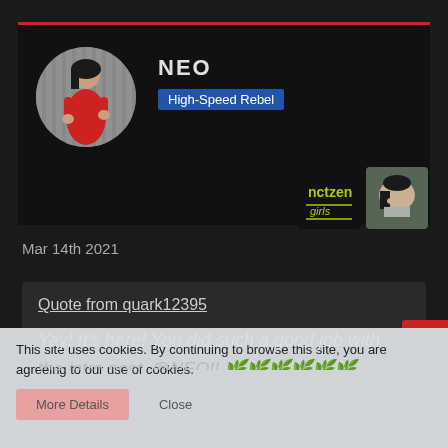[Figure (screenshot): User profile banner for 'NEO' with avatar photo (woman in red dress), username NEO, role badge 'High-Speed Rebel', and two icon images including an NCT-themed graphic]
Mar 14th 2021
Quote from quark12395
Yay! It's here! You did such a good job with the intro post. @NEO!!
This site uses cookies. By continuing to browse this site, you are agreeing to our use of cookies.
More Details   Close